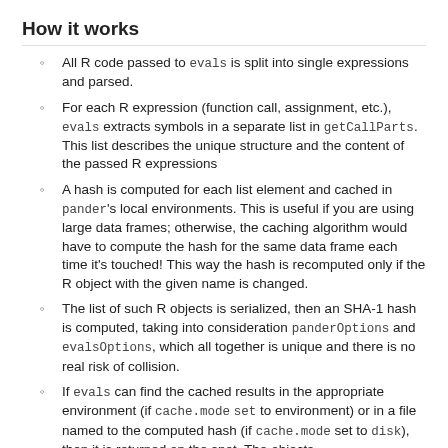How it works
All R code passed to evals is split into single expressions and parsed.
For each R expression (function call, assignment, etc.), evals extracts symbols in a separate list in getCallParts. This list describes the unique structure and the content of the passed R expressions
A hash is computed for each list element and cached in pander's local environments. This is useful if you are using large data frames; otherwise, the caching algorithm would have to compute the hash for the same data frame each time it's touched! This way the hash is recomputed only if the R object with the given name is changed.
The list of such R objects is serialized, then an SHA-1 hash is computed, taking into consideration panderOptions and evalsOptions, which all together is unique and there is no real risk of collision.
If evals can find the cached results in the appropriate environment (if cache.mode set to environment) or in a file named to the computed hash (if cache.mode set to disk), then it is returned on the spot. The objects